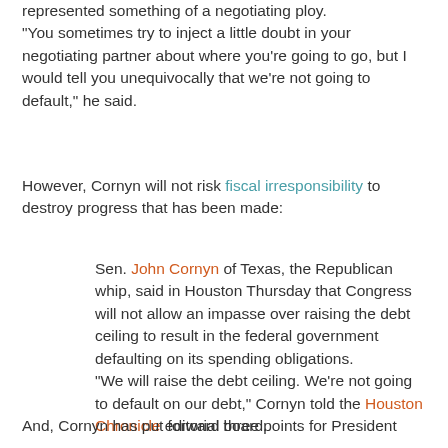represented something of a negotiating ploy. "You sometimes try to inject a little doubt in your negotiating partner about where you're going to go, but I would tell you unequivocally that we're not going to default," he said.
However, Cornyn will not risk fiscal irresponsibility to destroy progress that has been made:
Sen. John Cornyn of Texas, the Republican whip, said in Houston Thursday that Congress will not allow an impasse over raising the debt ceiling to result in the federal government defaulting on its spending obligations. "We will raise the debt ceiling. We're not going to default on our debt," Cornyn told the Houston Chronicle editorial board.
And, Cornyn has put forward three points for President